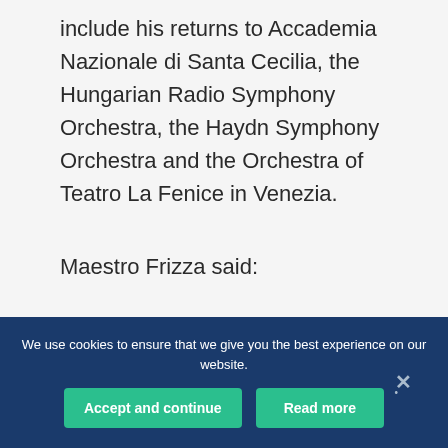include his returns to Accademia Nazionale di Santa Cecilia, the Hungarian Radio Symphony Orchestra, the Haydn Symphony Orchestra and the Orchestra of Teatro La Fenice in Venezia.
Maestro Frizza said:
“I am particularly proud and excited of
We use cookies to ensure that we give you the best experience on our website.